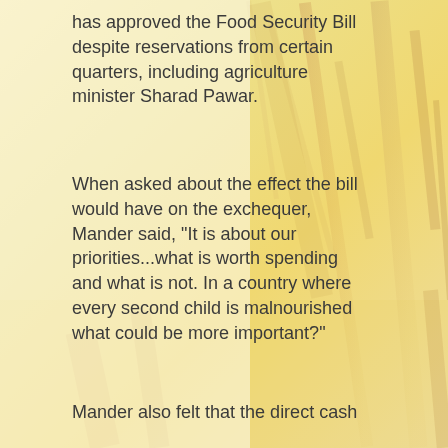[Figure (photo): Background photo of wheat or grain stalks with warm yellow and cream tones, faded/washed out appearance]
has approved the Food Security Bill despite reservations from certain quarters, including agriculture minister Sharad Pawar.
When asked about the effect the bill would have on the exchequer, Mander said, "It is about our priorities...what is worth spending and what is not. In a country where every second child is malnourished what could be more important?"
Mander also felt that the direct cash